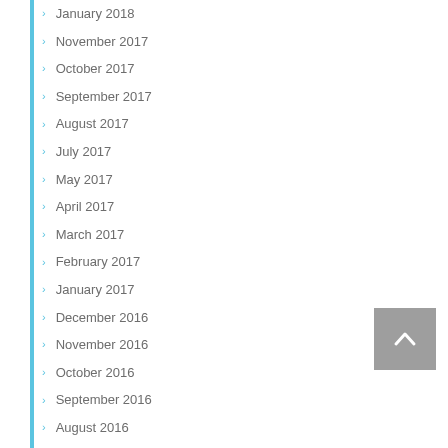January 2018
November 2017
October 2017
September 2017
August 2017
July 2017
May 2017
April 2017
March 2017
February 2017
January 2017
December 2016
November 2016
October 2016
September 2016
August 2016